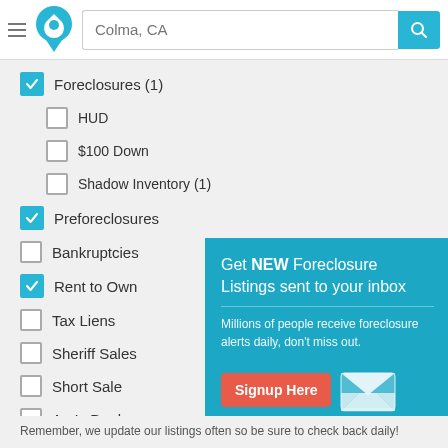Colma, CA search bar with logo
Foreclosures (1) — checked
HUD — unchecked
$100 Down — unchecked
Shadow Inventory (1) — unchecked
Preforeclosures — checked
Bankruptcies — unchecked
Rent to Own — checked
Tax Liens — unchecked
Sheriff Sales — unchecked
Short Sale — unchecked
As-Is Deals — unchecked
Fixer Uppers — unchecked
City Owned — unchecked
[Figure (screenshot): Popup modal: Get NEW Foreclosure Listings sent to your inbox. Millions of people receive foreclosure alerts daily, don't miss out. Signup Here button. No Thanks | Remind Me Later link. Mail envelope icon.]
Remember, we update our listings often so be sure to check back daily!